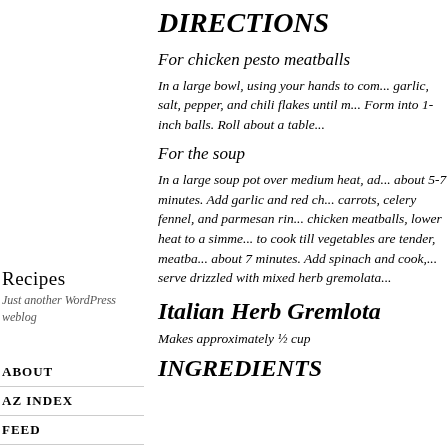Recipes
Just another WordPress weblog
ABOUT
AZ INDEX
FEED
DIRECTIONS
For chicken pesto meatballs
In a large bowl, using your hands to com... garlic, salt, pepper, and chili flakes until m... Form into 1-inch balls. Roll about a table...
For the soup
In a large soup pot over medium heat, ad... about 5-7 minutes. Add garlic and red ch... carrots, celery fennel, and parmesan rin... chicken meatballs, lower heat to a simme... to cook till vegetables are tender, meatba... about 7 minutes. Add spinach and cook,... serve drizzled with mixed herb gremolata...
Italian Herb Gremlota
Makes approximately ½ cup
INGREDIENTS